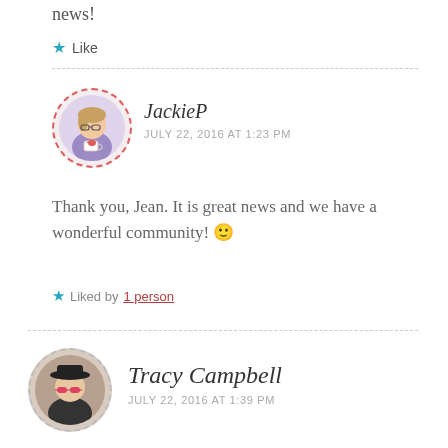news!
★ Like
JackieP
JULY 22, 2016 AT 1:23 PM
Thank you, Jean. It is great news and we have a wonderful community! 🙂
★ Liked by 1 person
Tracy Campbell
JULY 22, 2016 AT 1:39 PM